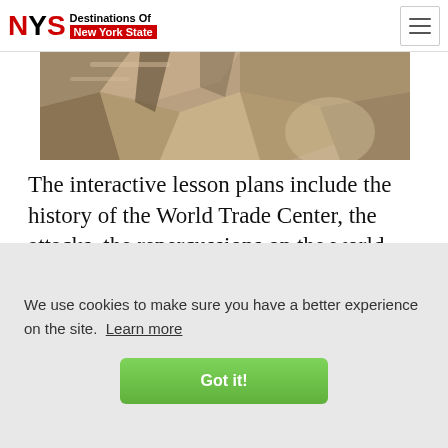NYS Destinations Of New York State
[Figure (photo): Cave or stone interior with rock formations and ambient lighting]
The interactive lesson plans include the history of the World Trade Center, the attacks, the repercussions on the world, and are divided by grades from three to 12
We use cookies to make sure you have a better experience on the site. Learn more
Got it!